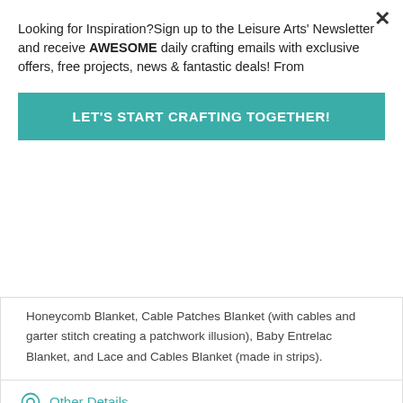Looking for Inspiration?Sign up to the Leisure Arts' Newsletter and receive AWESOME daily crafting emails with exclusive offers, free projects, news & fantastic deals! From
LET'S START CRAFTING TOGETHER!
Honeycomb Blanket, Cable Patches Blanket (with cables and garter stitch creating a patchwork illusion), Baby Entrelac Blanket, and Lace and Cables Blanket (made in strips).
Other Details
Related Products
[Figure (photo): Crocheted Baby Blankets book cover by Leisure Arts with a Crochet badge]
[Figure (photo): Crochet that looks orange book cover with 'Reve BABY A' visible]